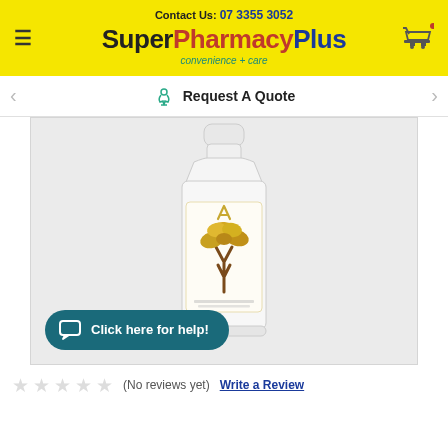Contact Us: 07 3355 3052 | SuperPharmacy Plus convenience + care
Request A Quote
[Figure (photo): A clear plastic bottle with a gold and brown tree logo label, product appears to be a health supplement liquid. 'Click here for help!' chat button overlaid at bottom left.]
(No reviews yet)  Write a Review